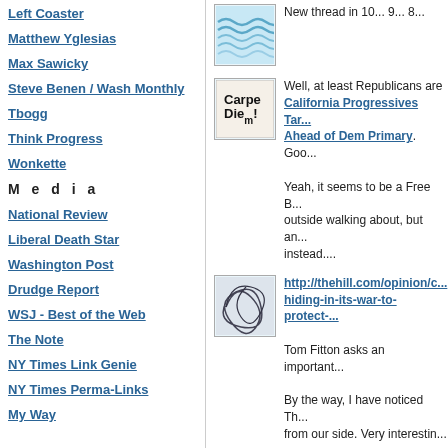Left Coaster
Matthew Yglesias
Max Sawicky
Steve Benen / Wash Monthly
Tbogg
Think Progress
Wonkette
M e d i a
National Review
Liberal Death Star
Washington Post
Drudge Report
WSJ - Best of the Web
The Note
NY Times Link Genie
NY Times Perma-Links
My Way
[Figure (illustration): Blue wavy lines thumbnail]
New thread in 10... 9... 8...
[Figure (illustration): Carpe Diem handwritten text thumbnail]
Well, at least Republicans are... California Progressives Tar... Ahead of Dem Primary. Goo...
Yeah, it seems to be a Free B... outside walking about, but an... instead....
[Figure (illustration): Tangled lines sketch thumbnail]
http://thehill.com/opinion/c... hiding-in-its-war-to-protect-...
Tom Fitton asks an important...
By the way, I have noticed Th... from our side. Very interestin...
Posted by: Mis...
[Figure (illustration): Green textured thumbnail]